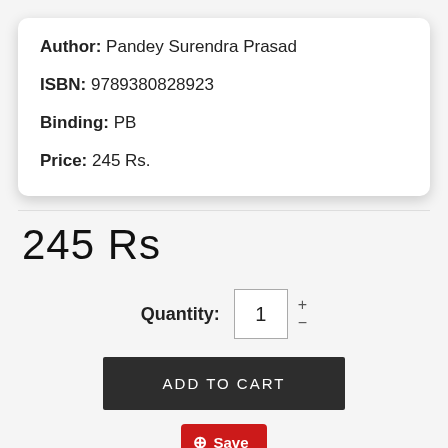Author: Pandey Surendra Prasad
ISBN: 9789380828923
Binding: PB
Price: 245 Rs.
245 Rs
Quantity: 1
ADD TO CART
Save